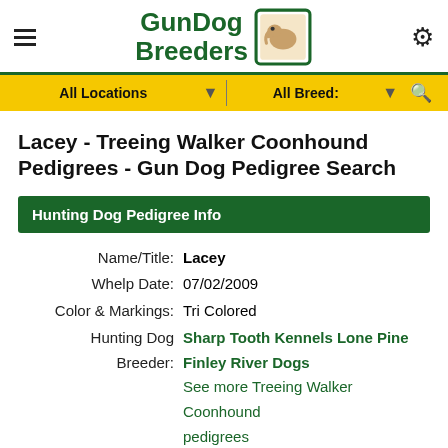GunDog Breeders
Lacey - Treeing Walker Coonhound Pedigrees - Gun Dog Pedigree Search
Hunting Dog Pedigree Info
| Field | Value |
| --- | --- |
| Name/Title: | Lacey |
| Whelp Date: | 07/02/2009 |
| Color & Markings: | Tri Colored |
| Hunting Dog Breeder: | Sharp Tooth Kennels Lone Pine Finley River Dogs |
|  | See more Treeing Walker Coonhound pedigrees |